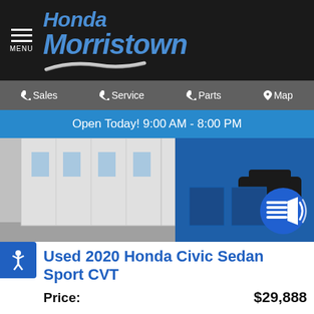Honda Morristown — MENU
Sales | Service | Parts | Map
Open Today! 9:00 AM - 8:00 PM
[Figure (photo): Exterior photo of Honda Morristown dealership with blue building facade and parked vehicles; sound icon overlay]
Used 2020 Honda Civic Sedan Sport CVT
Price: $29,888
[Figure (illustration): Red 3D button with white text reading 'Click To Unlock Lowest Price']